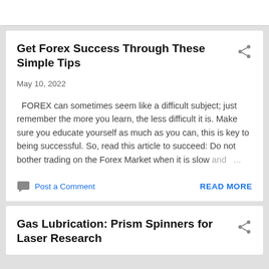Get Forex Success Through These Simple Tips
May 10, 2022
FOREX can sometimes seem like a difficult subject; just remember the more you learn, the less difficult it is. Make sure you educate yourself as much as you can, this is key to being successful. So, read this article to succeed: Do not bother trading on the Forex Market when it is slow and ...
Post a Comment
READ MORE
Gas Lubrication: Prism Spinners for Laser Research